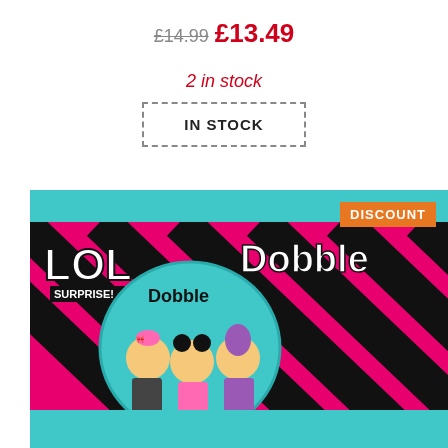£14.99  £13.49
2 in stock
IN STOCK
[Figure (photo): LOL Surprise! Dobble board game box with pink and black diagonal stripes and teal accents, featuring three LOL Surprise doll characters on the front, with a DISCOUNT badge in the top right corner]